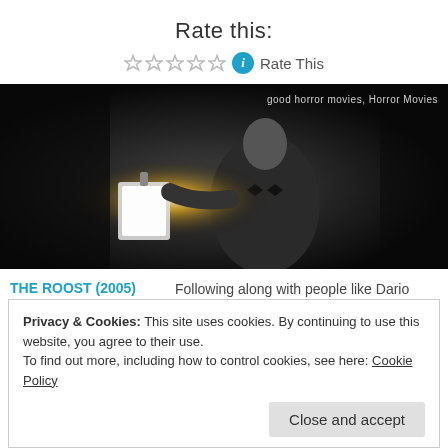Rate this:
☆☆☆☆☆ ℹ Rate This
[Figure (photo): Black and white still from a horror movie showing a man in formal attire holding a lantern. Tags: good horror movies, Horror Movies]
THE ROOST (2005) [REVIEW]
August 2, 2012
Leave a comment
Following along with people like Dario Argento and George Romero, writer/director Ti West is another filmmaker who I claim to be one of my favorites, despite not having seen […]
Privacy & Cookies: This site uses cookies. By continuing to use this website, you agree to their use.
To find out more, including how to control cookies, see here: Cookie Policy
Close and accept